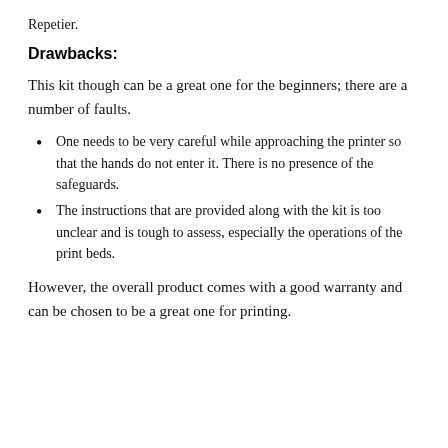Repetier.
Drawbacks:
This kit though can be a great one for the beginners; there are a number of faults.
One needs to be very careful while approaching the printer so that the hands do not enter it. There is no presence of the safeguards.
The instructions that are provided along with the kit is too unclear and is tough to assess, especially the operations of the print beds.
However, the overall product comes with a good warranty and can be chosen to be a great one for printing.